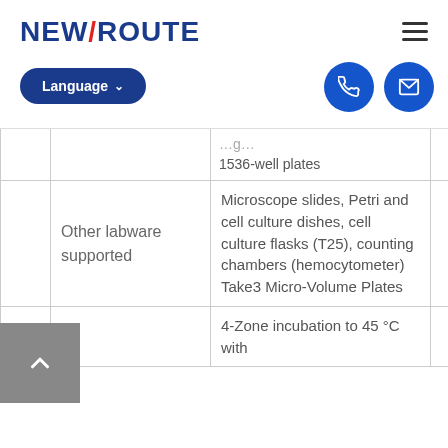NEWROUTE — Language selector, phone icon, email icon, hamburger menu
|  |  |  |
| --- | --- | --- |
|  |  | …1536-well plates |
|  | Other labware supported | Microscope slides, Petri and cell culture dishes, cell culture flasks (T25), counting chambers (hemocytometer) Take3 Micro-Volume Plates |
|  |  | 4-Zone incubation to 45 °C with… |